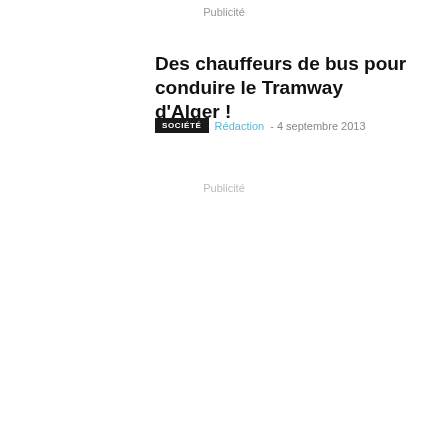Publicité
Des chauffeurs de bus pour conduire le Tramway d'Alger !
SOCIÉTÉ  Rédaction - 4 septembre 2013
Publicité